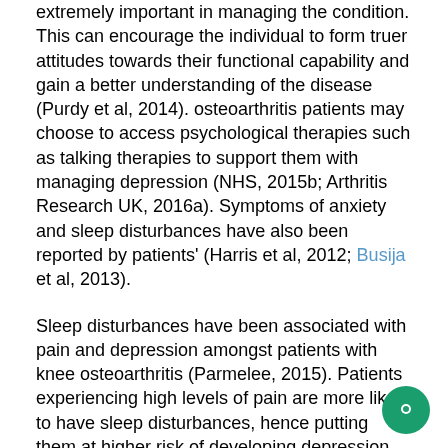extremely important in managing the condition. This can encourage the individual to form truer attitudes towards their functional capability and gain a better understanding of the disease (Purdy et al, 2014). osteoarthritis patients may choose to access psychological therapies such as talking therapies to support them with managing depression (NHS, 2015b; Arthritis Research UK, 2016a). Symptoms of anxiety and sleep disturbances have also been reported by patients' (Harris et al, 2012; Busija et al, 2013).
Sleep disturbances have been associated with pain and depression amongst patients with knee osteoarthritis (Parmelee, 2015). Patients experiencing high levels of pain are more likely to have sleep disturbances, hence putting them at higher risk of developing depression. Long term sleep